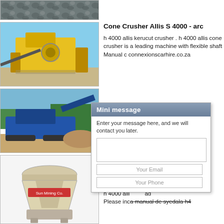[Figure (photo): Aerial view of crushed rock/gravel aggregate pile]
[Figure (photo): Large yellow cone crusher machine in industrial mining site]
Cone Crusher Allis S 4000 - arc
h 4000 allis kerucut crusher . h 4000 allis cone crusher is a leading machine with flexible shaft Manual c connexionscarhire.co.za
[Figure (photo): Blue mobile cone crusher on tracks in field with trees in background]
Sun Cone Crusher Allis S 4000
Jul 18, 2016 allis hydro cone 500 qu Crusher. us chalmers hydrocone crushers. man crusher sp
[Figure (screenshot): Mini message popup overlay with header, message text area, email and phone input fields]
[Figure (photo): Beige/cream colored cone crusher machine on white background]
H 4000 A art
h 4000 alli ad Please inc a manual de syedala h4